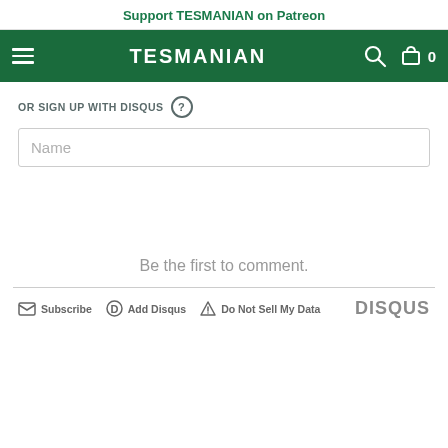Support TESMANIAN on Patreon
[Figure (screenshot): TESMANIAN website navigation bar with hamburger menu, TESMANIAN logo, search icon, and cart icon showing 0 items, on a dark green background]
OR SIGN UP WITH DISQUS
Name
Be the first to comment.
Subscribe  Add Disqus  Do Not Sell My Data  DISQUS